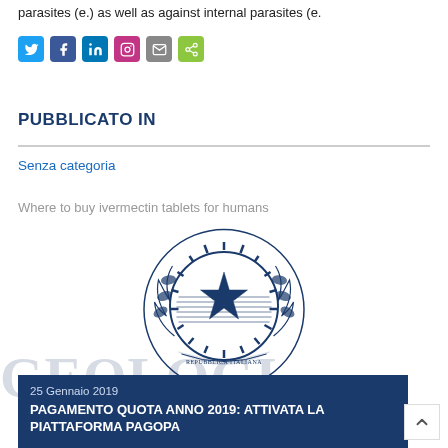parasites (e.) as well as against internal parasites (e.
[Figure (other): Row of social media sharing icons: Twitter (blue), Facebook (dark blue), LinkedIn (blue), Instagram (pink/red), Email (grey), Share (green)]
PUBBLICATO IN
Senza categoria
Where to buy ivermectin tablets for humans
[Figure (illustration): Italian Republic emblem (Emblema della Repubblica Italiana) — a star on a cog wheel surrounded by an olive branch and an oak branch, with the ribbon reading REPUBBLICA ITALIANA]
25 Gennaio 2019
PAGAMENTO QUOTA ANNO 2019: ATTIVATA LA PIATTAFORMA PAGOPA